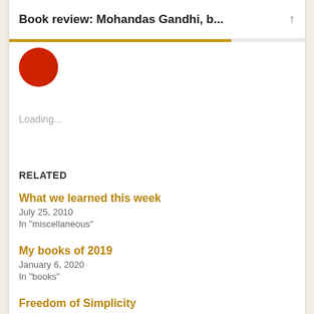Book review: Mohandas Gandhi, b...
[Figure (photo): Partially visible red circular avatar/profile image at top left]
Loading...
RELATED
What we learned this week
July 25, 2010
In "miscellaneous"
My books of 2019
January 6, 2020
In "books"
Freedom of Simplicity
April 9, 2007
In "books"